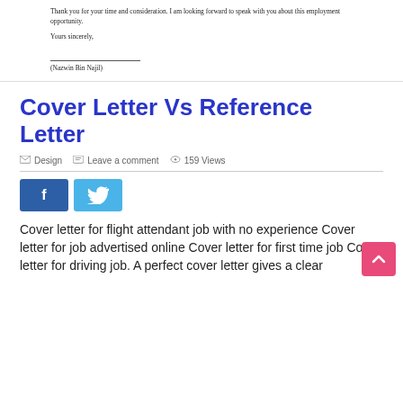Thank you for your time and consideration. I am looking forward to speak with you about this employment opportunity.
Yours sincerely,
(Nazwin Bin Najil)
Cover Letter Vs Reference Letter
Design   Leave a comment   159 Views
[Figure (other): Facebook and Twitter social share buttons]
Cover letter for flight attendant job with no experience Cover letter for job advertised online Cover letter for first time job Cover letter for driving job. A perfect cover letter gives a clear